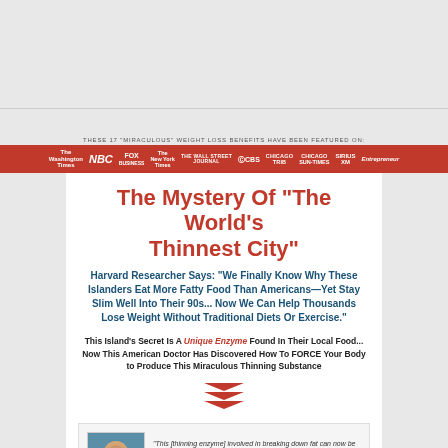THESE 17 "MIRACULOUS" WEIGHT LOSS BENEFITS HAVE BEEN FEATURED ON:
[Figure (logo): Red bar with media outlet logos: The Washington Times, NBC, Fox Business, The New York Times, The Wall Street Journal, CBS, Chicago Tribune, Chicago Sun-Times, Sirius XM, Entrepreneur]
The Mystery Of "The World's Thinnest City"
Harvard Researcher Says: "We Finally Know Why These Islanders Eat More Fatty Food Than Americans—Yet Stay Slim Well Into Their 90s... Now We Can Help Thousands Lose Weight Without Traditional Diets Or Exercise."
This Island's Secret Is A Unique Enzyme Found In Their Local Food... Now This American Doctor Has Discovered How To FORCE Your Body to Produce This Miraculous Thinning Substance
[Figure (illustration): Three red downward-pointing chevron arrows stacked]
[Figure (photo): Headshot of a man in a blue shirt]
"This [thinning enzyme] involved in breaking down fat can now be manipulated to work three times harder...and opens a door to understanding and maybe curing, a wide range of diseases.
—Dr. Dimitrios Stamou, Head Researcher